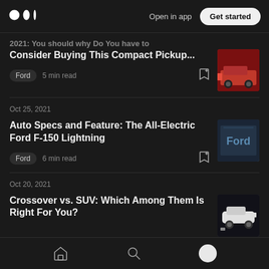Medium logo | Open in app | Get started
[Figure (screenshot): Truncated article title about compact pickup truck with red truck thumbnail]
Ford  5 min read
Oct 25, 2021
Auto Specs and Feature: The All-Electric Ford F-150 Lightning
Ford  6 min read
Oct 20, 2021
Crossover vs. SUV: Which Among Them Is Right For You?
Home | Search | Profile